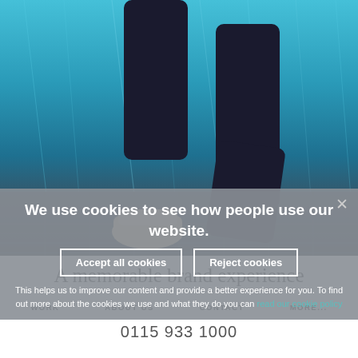[Figure (photo): Underwater photograph showing person's legs and feet wearing white sneakers and dark pants, jumping or floating in a swimming pool with bright blue water. Pool tile bottom visible at lower portion.]
We use cookies to see how people use our website.
Accept all cookies
Reject cookies
This helps us to improve our content and provide a better experience for you. To find out more about the cookies we use and what they do you can read our cookie policy
A memorable brand experience
WORK    ABOUT US    CONTACT    MORE...
0115 933 1000